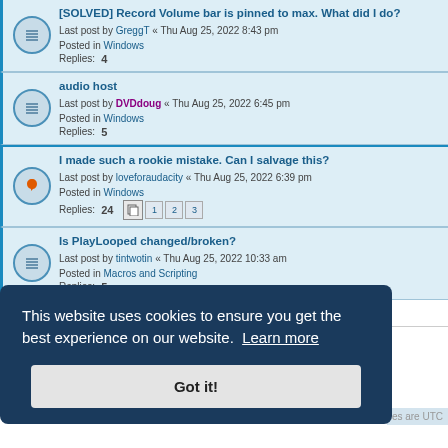[SOLVED] Record Volume bar is pinned to max. What did I do? — Last post by GreggT « Thu Aug 25, 2022 8:43 pm — Posted in Windows — Replies: 4
audio host — Last post by DVDdoug « Thu Aug 25, 2022 6:45 pm — Posted in Windows — Replies: 5
I made such a rookie mistake. Can I salvage this? — Last post by loveforaudacity « Thu Aug 25, 2022 6:39 pm — Posted in Windows — Replies: 24
Is PlayLooped changed/broken? — Last post by tintwotin « Thu Aug 25, 2022 10:33 am — Posted in Macros and Scripting — Replies: 5
This website uses cookies to ensure you get the best experience on our website. Learn more
Got it!
es are UTC